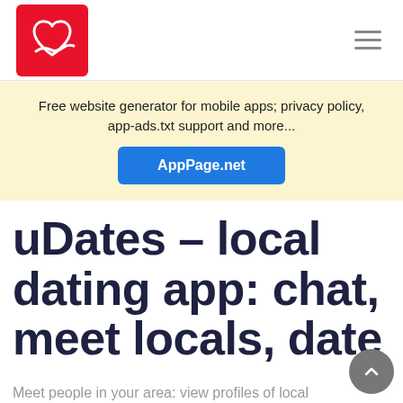[Figure (logo): uDates app logo: red square with white heart and hand icon]
Free website generator for mobile apps; privacy policy, app-ads.txt support and more...
AppPage.net
uDates – local dating app: chat, meet locals, date
Meet people in your area: view profiles of local